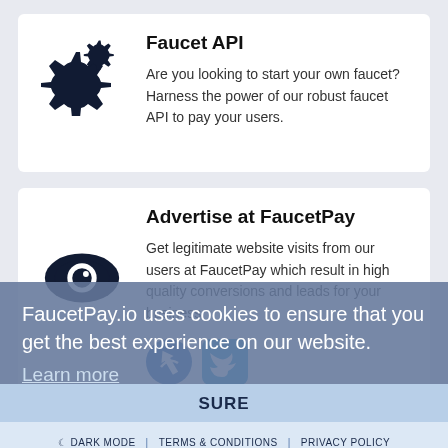Faucet API
Are you looking to start your own faucet? Harness the power of our robust faucet API to pay your users.
Advertise at FaucetPay
Get legitimate website visits from our users at FaucetPay which result in high quality conversions and leads for your business.
FaucetPay.io uses cookies to ensure that you get the best experience on our website.
Learn more
SURE
DARK MODE | TERMS & CONDITIONS | PRIVACY POLICY